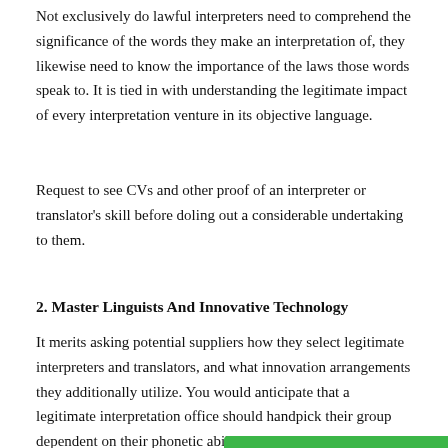Not exclusively do lawful interpreters need to comprehend the significance of the words they make an interpretation of, they likewise need to know the importance of the laws those words speak to. It is tied in with understanding the legitimate impact of every interpretation venture in its objective language.
Request to see CVs and other proof of an interpreter or translator's skill before doling out a considerable undertaking to them.
2. Master Linguists And Innovative Technology
It merits asking potential suppliers how they select legitimate interpreters and translators, and what innovation arrangements they additionally utilize. You would anticipate that a legitimate interpretation office should handpick their group dependent on their phonetic abilities, specialized mastery and reasonable experience of significant interpretation ventures.